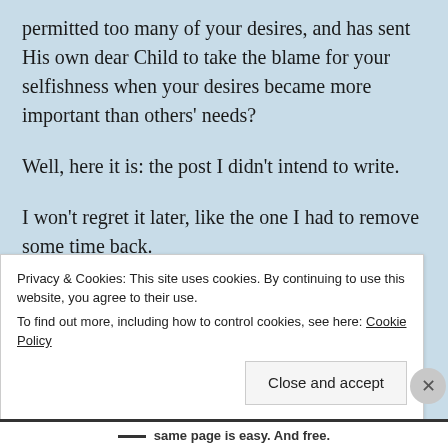permitted too many of your desires, and has sent His own dear Child to take the blame for your selfishness when your desires became more important than others' needs?
Well, here it is: the post I didn't intend to write.
I won't regret it later, like the one I had to remove some time back.
You won't know for sure what it was that I did intend to write, because I won't post it later.
Privacy & Cookies: This site uses cookies. By continuing to use this website, you agree to their use.
To find out more, including how to control cookies, see here: Cookie Policy
Close and accept
same page is easy. And free.